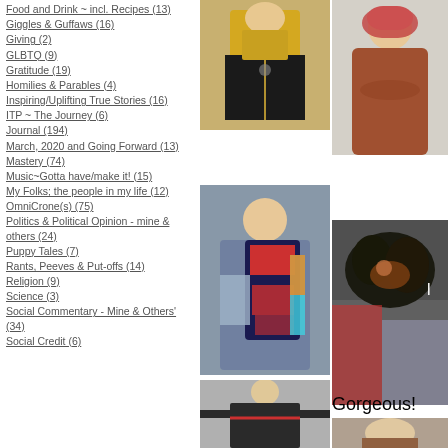Food and Drink ~ incl. Recipes (13)
Giggles & Guffaws (16)
Giving (2)
GLBTQ (9)
Gratitude (19)
Homilies & Parables (4)
Inspiring/Uplifting True Stories (16)
ITP ~ The Journey (6)
Journal (194)
March, 2020 and Going Forward (13)
Mastery (74)
Music~Gotta have/make it! (15)
My Folks; the people in my life (12)
OmniCrone(s) (75)
Politics & Political Opinion - mine & others (24)
Puppy Tales (7)
Rants, Peeves & Put-offs (14)
Religion (9)
Science (3)
Social Commentary - Mine & Others' (34)
Social Credit (6)
[Figure (photo): Person in gold/green silk jacket]
[Figure (photo): Person in rust/terracotta dress with headscarf]
[Figure (photo): Woman holding colorful garment/apron]
[Figure (photo): Small dog, black and tan terrier]
[Figure (photo): Person in dark jacket with arms spread]
Gorgeous!
[Figure (photo): Person portrait, partial view]